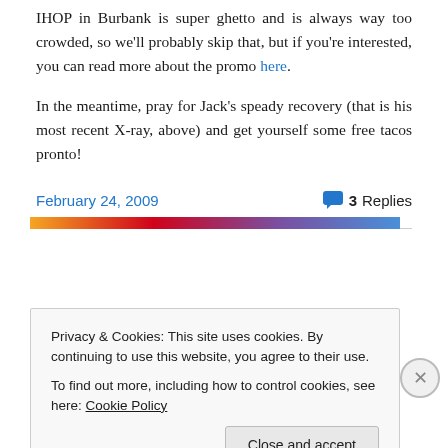IHOP in Burbank is super ghetto and is always way too crowded, so we'll probably skip that, but if you're interested, you can read more about the promo here.
In the meantime, pray for Jack's speady recovery (that is his most recent X-ray, above) and get yourself some free tacos pronto!
February 24, 2009   3 Replies
Privacy & Cookies: This site uses cookies. By continuing to use this website, you agree to their use. To find out more, including how to control cookies, see here: Cookie Policy
Close and accept